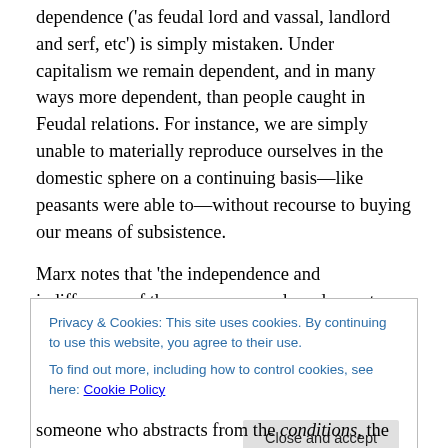dependence ('as feudal lord and vassal, landlord and serf, etc') is simply mistaken. Under capitalism we remain dependent, and in many ways more dependent, than people caught in Feudal relations. For instance, we are simply unable to materially reproduce ourselves in the domestic sphere on a continuing basis—like peasants were able to—without recourse to buying our means of subsistence.
Marx notes that 'the independence and indifference of the consumers and producers to one another' contradicts the
Privacy & Cookies: This site uses cookies. By continuing to use this website, you agree to their use.
To find out more, including how to control cookies, see here: Cookie Policy
someone who abstracts from the conditions, the